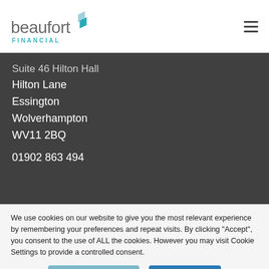[Figure (logo): Beaufort Financial logo with teal chevron arrows and grey/teal text]
Suite 46 Hilton Hall
Hilton Lane
Essington
Wolverhampton
WV11 2BQ

01902 863 494
We use cookies on our website to give you the most relevant experience by remembering your preferences and repeat visits. By clicking “Accept”, you consent to the use of ALL the cookies. However you may visit Cookie Settings to provide a controlled consent.